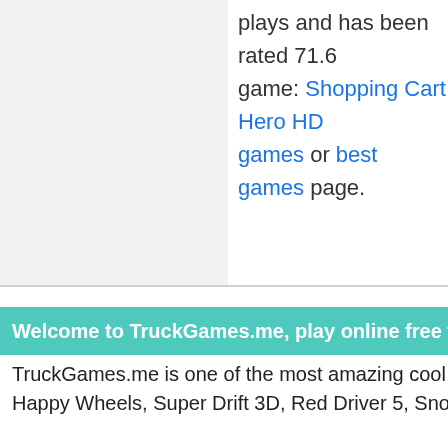plays and has been rated 71.6 game: Shopping Cart Hero HD games or best games page.
Welcome to TruckGames.me, play online free truck raci
TruckGames.me is one of the most amazing cool truck racin Happy Wheels, Super Drift 3D, Red Driver 5, Snow ATV, Co
Playing monster truck games can be so much fun whether y you can have your piece of fun by simply choosing your own can even go for trials or challenges.
The beauty of the monster truck games lies in the fact that y and cross different levels by simply destroying the cars. The spare evening and you cannot decide on what to do, then tr